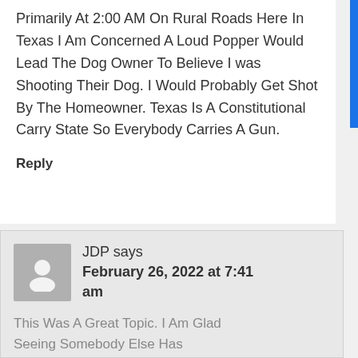Primarily At 2:00 AM On Rural Roads Here In Texas I Am Concerned A Loud Popper Would Lead The Dog Owner To Believe I was Shooting Their Dog. I Would Probably Get Shot By The Homeowner. Texas Is A Constitutional Carry State So Everybody Carries A Gun.
Reply
JDP says
February 26, 2022 at 7:41 am
This Was A Great Topic. I Am Glad Seeing Somebody Else Has Considered Cat-Injuring D...